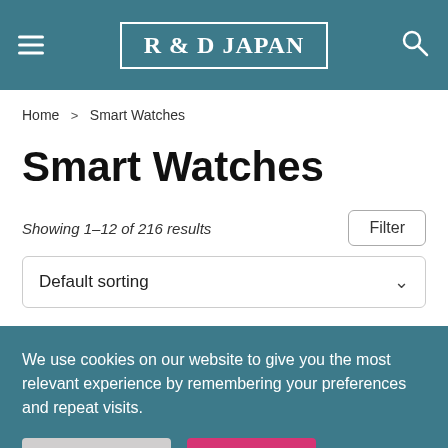R & D JAPAN
Home > Smart Watches
Smart Watches
Showing 1–12 of 216 results
Default sorting
We use cookies on our website to give you the most relevant experience by remembering your preferences and repeat visits.
Cookie Settings  Accept All